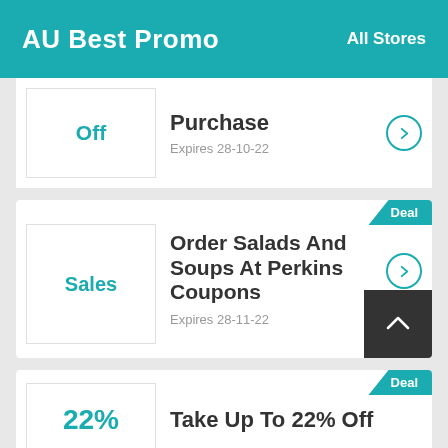AU Best Promo  All Stores
Off — Purchase — Expires 28-10-22
Deal — Sales — Order Salads And Soups At Perkins Coupons — Expires 28-11-22
Deal — 22% — Take Up To 22% Off